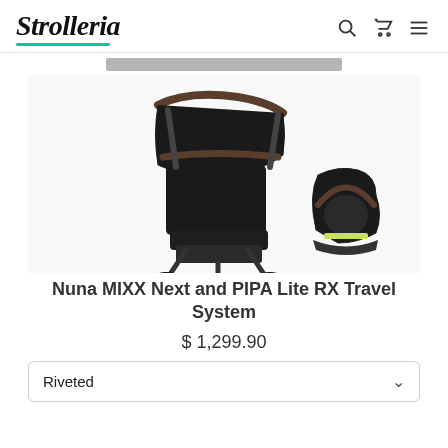Strolleria
[Figure (photo): Black Nuna MIXX Next stroller with brown handle bar next to a Nuna PIPA Lite RX infant car seat, both in black, on a white background.]
Nuna MIXX Next and PIPA Lite RX Travel System
$ 1,299.90
Riveted